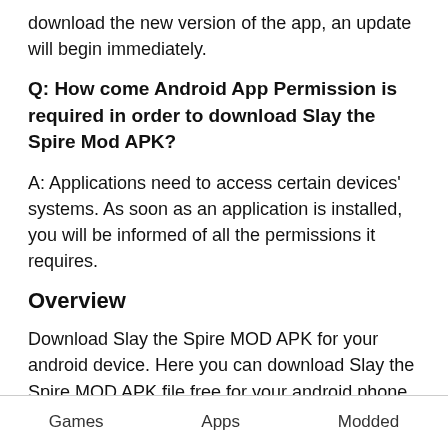download the new version of the app, an update will begin immediately.
Q: How come Android App Permission is required in order to download Slay the Spire Mod APK?
A: Applications need to access certain devices' systems. As soon as an application is installed, you will be informed of all the permissions it requires.
Overview
Download Slay the Spire MOD APK for your android device. Here you can download Slay the Spire MOD APK file free for your android phone, tablet or another device which are supports android OS.
This review must have fulfilled all your queries
Games   Apps   Modded